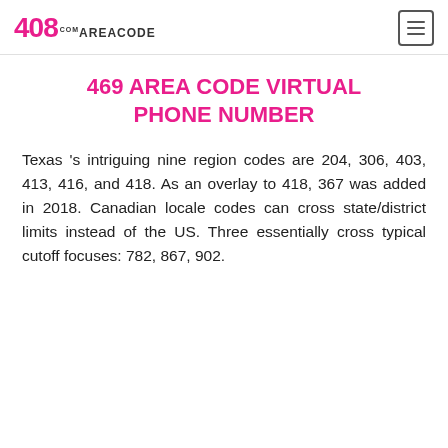408AREACODE.com
469 AREA CODE VIRTUAL PHONE NUMBER
Texas 's intriguing nine region codes are 204, 306, 403, 413, 416, and 418. As an overlay to 418, 367 was added in 2018. Canadian locale codes can cross state/district limits instead of the US. Three essentially cross typical cutoff focuses: 782, 867, 902.